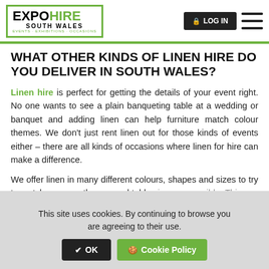EXPO HIRE SOUTH WALES | LOG IN | Menu
WHAT OTHER KINDS OF LINEN HIRE DO YOU DELIVER IN SOUTH WALES?
Linen hire is perfect for getting the details of your event right. No one wants to see a plain banqueting table at a wedding or banquet and adding linen can help furniture match colour themes. We don't just rent linen out for those kinds of events either – there are all kinds of occasions where linen for hire can make a difference.
We offer linen in many different colours, shapes and sizes to try to match as many themes and table sizes as possible. This can make choosing linen a
This site uses cookies. By continuing to browse you are agreeing to their use.